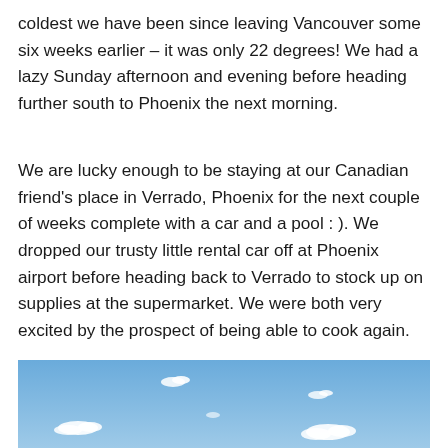coldest we have been since leaving Vancouver some six weeks earlier – it was only 22 degrees!  We had a lazy Sunday afternoon and evening before heading further south to Phoenix the next morning.
We are lucky enough to be staying at our Canadian friend's place in Verrado, Phoenix for the next couple of weeks complete with a car and a pool : ). We dropped our trusty little rental car off at Phoenix airport before heading back to Verrado to stock up on supplies at the supermarket.  We were both very excited by the prospect of being able to cook again.
[Figure (photo): Blue sky with scattered white clouds, photographed from below]